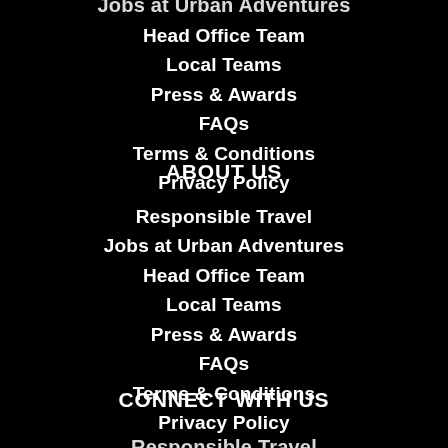Jobs at Urban Adventures
Head Office Team
Local Teams
Press & Awards
FAQs
Terms & Conditions
Privacy Policy
ABOUT US
Responsible Travel
Jobs at Urban Adventures
Head Office Team
Local Teams
Press & Awards
FAQs
Terms & Conditions
Privacy Policy
CONNECT WITH US
Responsible Travel